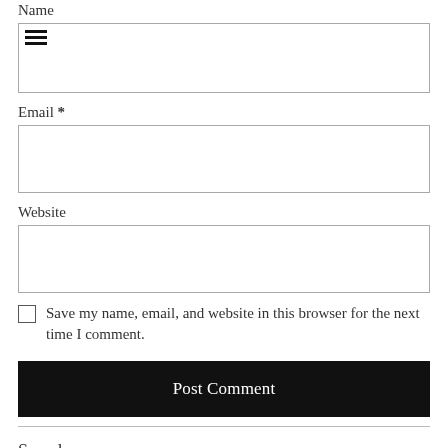Name
[Figure (other): Name input field with hamburger icon inside top-left corner]
Email *
[Figure (other): Email input field (empty)]
Website
[Figure (other): Website input field (empty)]
Save my name, email, and website in this browser for the next time I comment.
Post Comment
Search